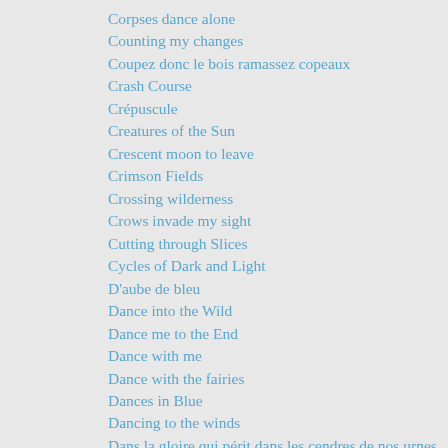Corpses dance alone
Counting my changes
Coupez donc le bois ramassez copeaux
Crash Course
Crépuscule
Creatures of the Sun
Crescent moon to leave
Crimson Fields
Crossing wilderness
Crows invade my sight
Cutting through Slices
Cycles of Dark and Light
D'aube de bleu
Dance into the Wild
Dance me to the End
Dance with me
Dance with the fairies
Dances in Blue
Dancing to the winds
Dans la gloire qui périt dans les cendres de nos urnes /